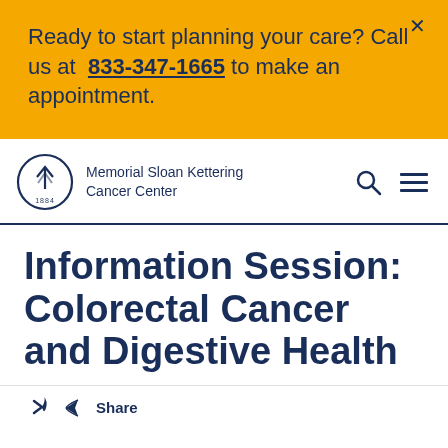Ready to start planning your care? Call us at 833-347-1665 to make an appointment.
[Figure (logo): Memorial Sloan Kettering Cancer Center logo — circular emblem with upward arrow and '1884' text, beside the organization name]
Information Session: Colorectal Cancer and Digestive Health
Share